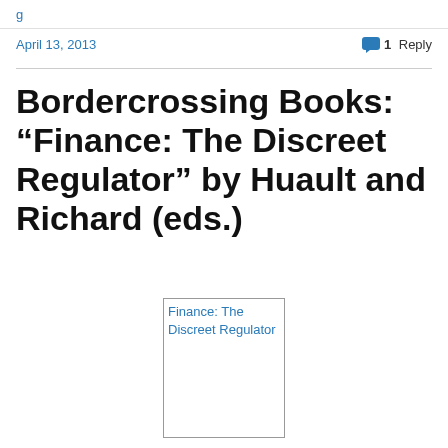April 13, 2013   1 Reply
Bordercrossing Books: “Finance: The Discreet Regulator” by Huault and Richard (eds.)
[Figure (illustration): Book cover image placeholder for 'Finance: The Discreet Regulator' showing alt text in blue on white background with border]